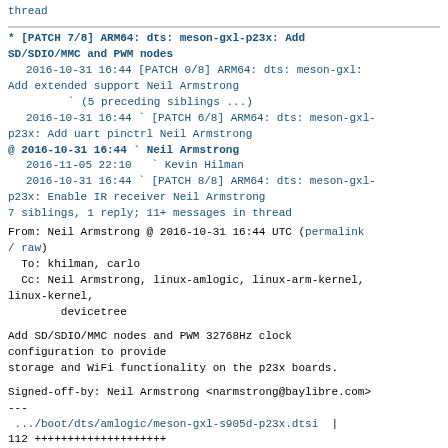thread
* [PATCH 7/8] ARM64: dts: meson-gxl-p23x: Add SD/SDIO/MMC and PWM nodes
  2016-10-31 16:44 [PATCH 0/8] ARM64: dts: meson-gxl: Add extended support Neil Armstrong
             ` (5 preceding siblings ...)
  2016-10-31 16:44 ` [PATCH 6/8] ARM64: dts: meson-gxl-p23x: Add uart pinctrl Neil Armstrong
@ 2016-10-31 16:44 ` Neil Armstrong
  2016-11-05 22:10   ` Kevin Hilman
  2016-10-31 16:44 ` [PATCH 8/8] ARM64: dts: meson-gxl-p23x: Enable IR receiver Neil Armstrong
  7 siblings, 1 reply; 11+ messages in thread
From: Neil Armstrong @ 2016-10-31 16:44 UTC (permalink / raw)
To: khilman, carlo
Cc: Neil Armstrong, linux-amlogic, linux-arm-kernel, linux-kernel,
        devicetree
Add SD/SDIO/MMC nodes and PWM 32768Hz clock
configuration to provide
storage and WiFi functionality on the p23x boards.
Signed-off-by: Neil Armstrong <narmstrong@baylibre.com>
---
 .../boot/dts/amlogic/meson-gxl-s905d-p23x.dtsi  | 112 ++++++++++++++++++++
 1 file changed, 112 insertions(+)